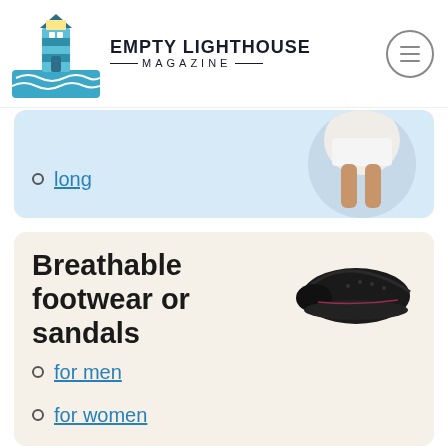EMPTY LIGHTHOUSE MAGAZINE
long
[Figure (photo): Cropped photo of woman's legs in white skirt]
Breathable footwear or sandals
[Figure (photo): Black slip-on sneaker/shoe]
for men
for women
Light dresses
You can find some great
[Figure (photo): Woman in light blue and floral dress]